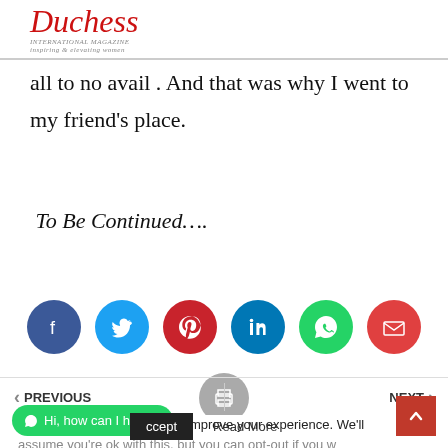[Figure (logo): Duchess International Magazine logo in red italic script with tagline 'inspiring & elevating women']
all to no avail . And that was why I went to my friend's place.
To Be Continued….
[Figure (infographic): Social sharing buttons: Facebook (dark blue), Twitter (light blue), Pinterest (red), LinkedIn (blue), WhatsApp (green), Email (red-orange), Print (gray)]
PREVIOUS | NEXT
This website uses cookies to improve your experience. We'll assume you're ok with this, but you can opt-out if you w...
Accept   Read More